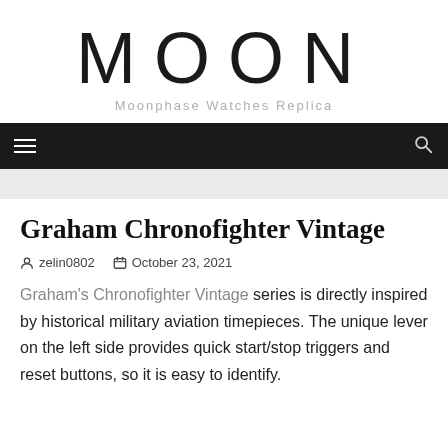MOON
Moonphase Watches Replica
Graham Chronofighter Vintage
zelin0802   October 23, 2021
Graham's Chronofighter Vintage series is directly inspired by historical military aviation timepieces. The unique lever on the left side provides quick start/stop triggers and reset buttons, so it is easy to identify.